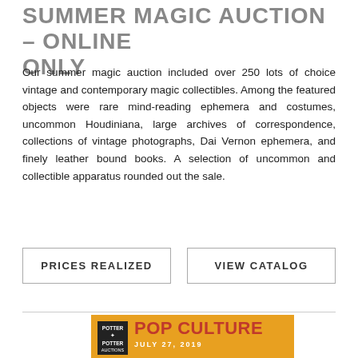SUMMER MAGIC AUCTION – ONLINE ONLY
Our summer magic auction included over 250 lots of choice vintage and contemporary magic collectibles. Among the featured objects were rare mind-reading ephemera and costumes, uncommon Houdiniana, large archives of correspondence, collections of vintage photographs, Dai Vernon ephemera, and finely leather bound books. A selection of uncommon and collectible apparatus rounded out the sale.
PRICES REALIZED
VIEW CATALOG
[Figure (illustration): Potter & Potter Auctions Pop Culture auction catalog cover, dated July 27, 2019, with orange background, red POP CULTURE text, and thumbnail images of pop culture collectibles.]